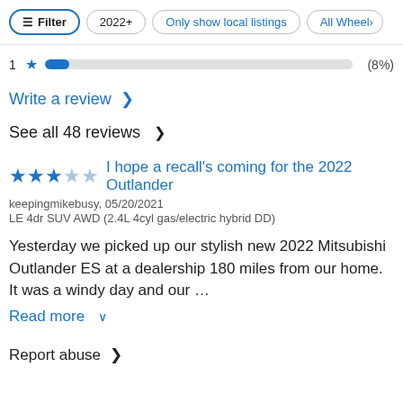Filter  2022+  Only show local listings  All Wheel>
1 ★  (8%)
Write a review >
See all 48 reviews >
★★★☆☆  I hope a recall's coming for the 2022 Outlander
keepingmikebusy, 05/20/2021
LE 4dr SUV AWD (2.4L 4cyl gas/electric hybrid DD)
Yesterday we picked up our stylish new 2022 Mitsubishi Outlander ES at a dealership 180 miles from our home. It was a windy day and our …
Read more ∨
Report abuse >